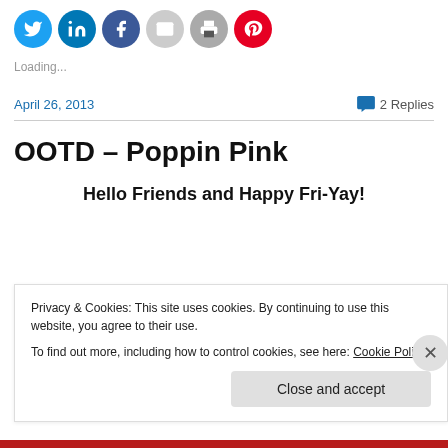[Figure (illustration): Row of social media share buttons as colored circles: Twitter (blue bird), LinkedIn (blue), Facebook (blue), Email (grey envelope), Print (grey printer), Pinterest (red P)]
Loading...
April 26, 2013   💬 2 Replies
OOTD – Poppin Pink
Hello Friends and Happy Fri-Yay!
Privacy & Cookies: This site uses cookies. By continuing to use this website, you agree to their use.
To find out more, including how to control cookies, see here: Cookie Policy
Close and accept